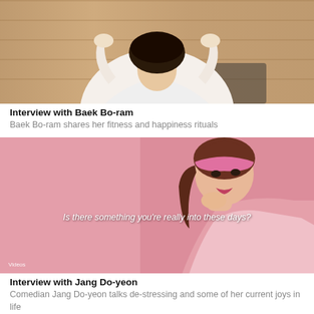[Figure (photo): Woman in white jacket posing against a wood-paneled background, viewed from mid-body up, hands raised near hair]
Interview with Baek Bo-ram
Baek Bo-ram shares her fitness and happiness rituals
[Figure (photo): Woman with pink headband on a pink background, chin resting on hand, with subtitle text 'Is there something you're really into these days?' and 'Videos' tag in lower left]
Interview with Jang Do-yeon
Comedian Jang Do-yeon talks de-stressing and some of her current joys in life